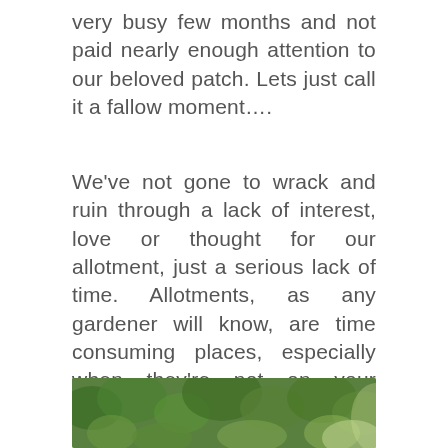very busy few months and not paid nearly enough attention to our beloved patch. Lets just call it a fallow moment….
We've not gone to wrack and ruin through a lack of interest, love or thought for our allotment, just a serious lack of time. Allotments, as any gardener will know, are time consuming places, especially when they're not on your doorstep. We love gardening (sowing seeds, watching our food grow and then cooking with homegrown produce is awesome) and we've not lost that passion, we've just gained another – orienteering! And we love this too. That's all of us, three children, two adults and one dog.
[Figure (photo): Partial photo of green leafy plants and trees, appearing to be an allotment or garden setting]